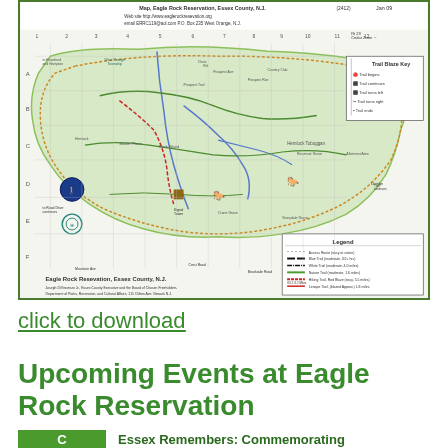[Figure (map): Trail map of Eagle Rock Reservation, Essex County, N.J. Shows trails, grid coordinates A-F and 1-12, trail blaze key, legend with trail types, and reservation boundary in green. Includes contact info: Web site http://www.eaglerockresevation.org, email ERRC119@aol.com, P.O. Box 235 West Orange, N.J. Attribution: Joseph DiVincenzo Jr., Essex County Executive and the Board of Chosen Freeholders, Department of Parks, Recreation, and Cultural Affairs, 115 Clifton Ave. Newark N.J. 07102, t 973-268-3500 f 973-481-5302 www.essexcountynj.org. Dated Jan 09.]
click to download
Upcoming Events at Eagle Rock Reservation
Essex Remembers: Commemorating